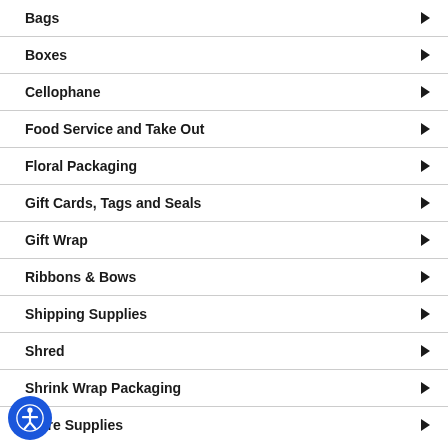Bags
Boxes
Cellophane
Food Service and Take Out
Floral Packaging
Gift Cards, Tags and Seals
Gift Wrap
Ribbons & Bows
Shipping Supplies
Shred
Shrink Wrap Packaging
Store Supplies